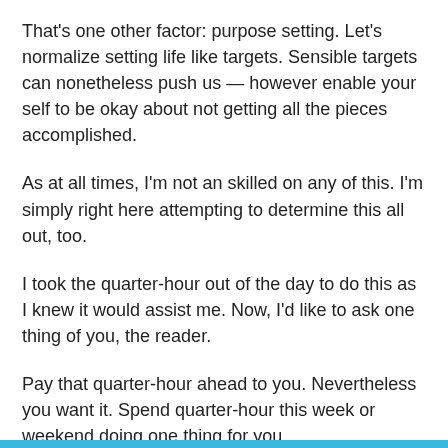That's one other factor: purpose setting. Let's normalize setting life like targets. Sensible targets can nonetheless push us — however enable your self to be okay about not getting all the pieces accomplished.
As at all times, I'm not an skilled on any of this. I'm simply right here attempting to determine this all out, too.
I took the quarter-hour out of the day to do this as I knew it would assist me. Now, I'd like to ask one thing of you, the reader.
Pay that quarter-hour ahead to you. Nevertheless you want it. Spend quarter-hour this week or weekend doing one thing for you.
Final, however not least, throughout these overwhelming